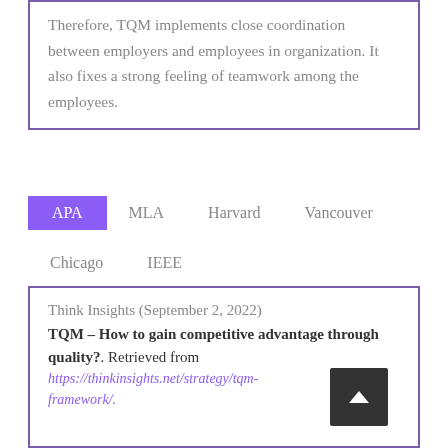Therefore, TQM implements close coordination between employers and employees in organization. It also fixes a strong feeling of teamwork among the employees.
APA   MLA   Harvard   Vancouver   Chicago   IEEE
Think Insights (September 2, 2022) TQM – How to gain competitive advantage through quality?. Retrieved from https://thinkinsights.net/strategy/tqm-framework/.